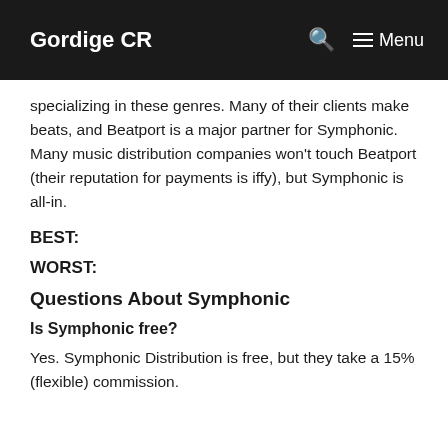Gordige CR  Menu
specializing in these genres. Many of their clients make beats, and Beatport is a major partner for Symphonic. Many music distribution companies won't touch Beatport (their reputation for payments is iffy), but Symphonic is all-in.
BEST:
WORST:
Questions About Symphonic
Is Symphonic free?
Yes. Symphonic Distribution is free, but they take a 15% (flexible) commission.